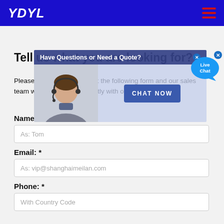YDYL
Tell us what you are looking for?
Please complete and submit the following form and our sales team will contact you promptly with our best prices.
[Figure (screenshot): Live chat popup overlay with banner text 'Have Questions or Need a Quote?' and a customer service agent photo with a 'CHAT NOW' button. A 'Live Chat' speech bubble icon appears in the top right.]
Name: *
As: Tom
Email: *
As: vip@shanghaimeilan.com
Phone: *
With Country Code